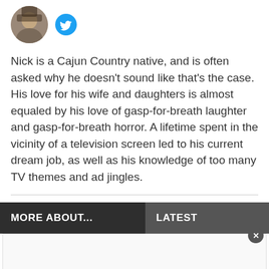[Figure (photo): Circular avatar photo of a person and a Twitter bird icon]
Nick is a Cajun Country native, and is often asked why he doesn't sound like that's the case. His love for his wife and daughters is almost equaled by his love of gasp-for-breath laughter and gasp-for-breath horror. A lifetime spent in the vicinity of a television screen led to his current dream job, as well as his knowledge of too many TV themes and ad jingles.
MORE ABOUT...
LATEST